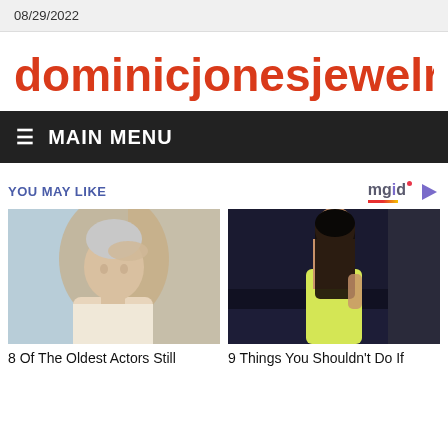08/29/2022
dominicjonesjewelry.c
≡  MAIN MENU
YOU MAY LIKE
[Figure (photo): Elderly man with grey hair, wearing white t-shirt, hand raised to forehead, looking distressed. Blurry indoor background.]
8 Of The Oldest Actors Still
[Figure (photo): Young woman with long dark hair wearing a tight yellow-green mini dress, posing against a dark background.]
9 Things You Shouldn't Do If